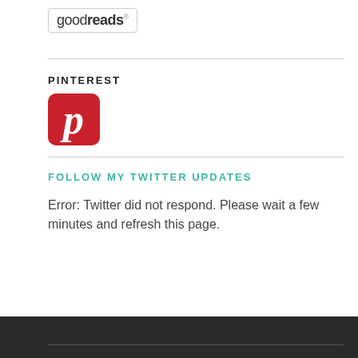[Figure (logo): Goodreads logo in a rounded rectangle box]
PINTEREST
[Figure (logo): Pinterest red rounded square icon with white P letter]
FOLLOW MY TWITTER UPDATES
Error: Twitter did not respond. Please wait a few minutes and refresh this page.